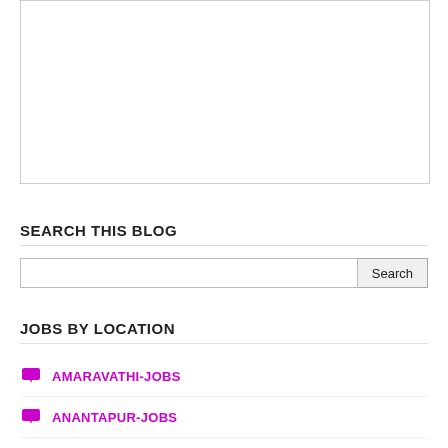[Figure (other): Advertisement or image placeholder box with border]
SEARCH THIS BLOG
Search input box with Search button
JOBS BY LOCATION
AMARAVATHI-JOBS
ANANTAPUR-JOBS
BANGALORE-JOBS
CHENNAI-JOBS